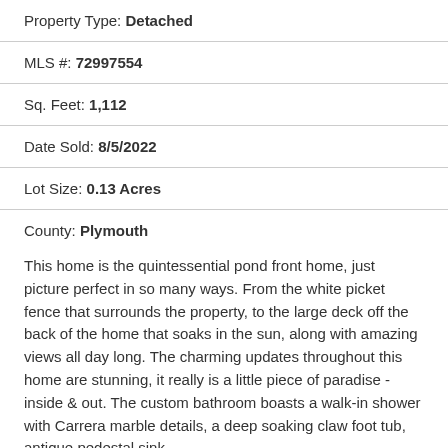Property Type: Detached
MLS #: 72997554
Sq. Feet: 1,112
Date Sold: 8/5/2022
Lot Size: 0.13 Acres
County: Plymouth
This home is the quintessential pond front home, just picture perfect in so many ways. From the white picket fence that surrounds the property, to the large deck off the back of the home that soaks in the sun, along with amazing views all day long. The charming updates throughout this home are stunning, it really is a little piece of paradise - inside & out. The custom bathroom boasts a walk-in shower with Carrera marble details, a deep soaking claw foot tub, antique pedestal sink,